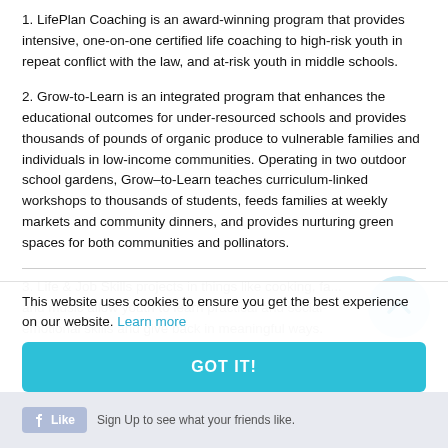1. LifePlan Coaching is an award-winning program that provides intensive, one-on-one certified life coaching to high-risk youth in repeat conflict with the law, and at-risk youth in middle schools.
2. Grow-to-Learn is an integrated program that enhances the educational outcomes for under-resourced schools and provides thousands of pounds of organic produce to vulnerable families and individuals in low-income communities. Operating in two outdoor school gardens, Grow–to-Learn teaches curriculum-linked workshops to thousands of students, feeds families at weekly markets and community dinners, and provides nurturing green spaces for both communities and pollinators.
3. Life & Job Skills projects in things like cooking, fa... and music allow youth to learn practical and social-emotional skills and give back in meaningful ways.
This website uses cookies to ensure you get the best experience on our website. Learn more
GOT IT!